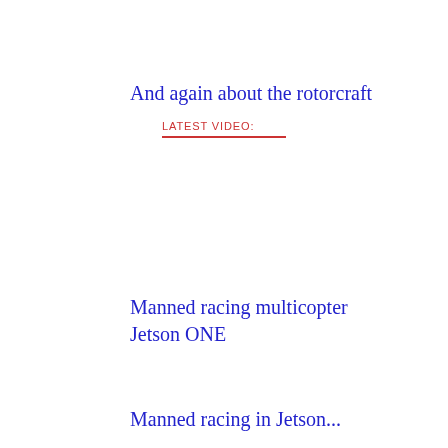And again about the rotorcraft
LATEST VIDEO:
Manned racing multicopter Jetson ONE
Manned racing in Jetson...